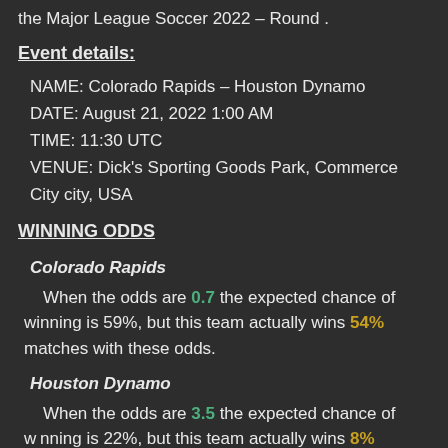the Major League Soccer 2022 – Round .
Event details:
NAME: Colorado Rapids – Houston Dynamo
DATE: August 21, 2022 1:00 AM
TIME: 11:30 UTC
VENUE: Dick's Sporting Goods Park, Commerce City city, USA
WINNING ODDS
Colorado Rapids
When the odds are 0.7 the expected chance of winning is 59%, but this team actually wins 54% matches with these odds.
Houston Dynamo
When the odds are 3.5 the expected chance of winning is 22%, but this team actually wins 8% matches with these odds.